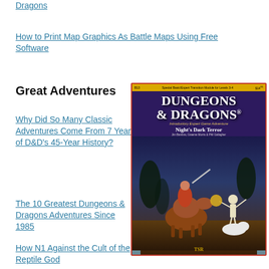Dragons
How to Print Map Graphics As Battle Maps Using Free Software
Great Adventures
Why Did So Many Classic Adventures Come From 7 Years of D&D's 45-Year History?
[Figure (photo): Dungeons & Dragons 'Night's Dark Terror' module book cover featuring fantasy artwork of a warrior on horseback and a skeleton warrior, published by TSR]
The 10 Greatest Dungeons & Dragons Adventures Since 1985
How N1 Against the Cult of the Reptile God